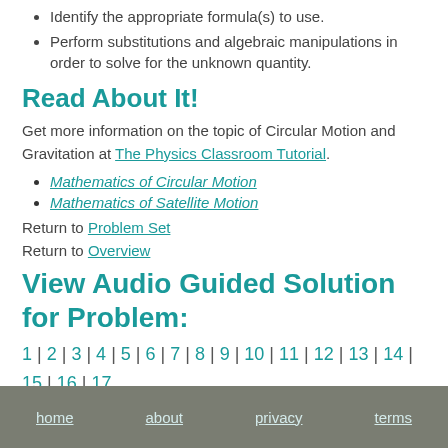Identify the appropriate formula(s) to use.
Perform substitutions and algebraic manipulations in order to solve for the unknown quantity.
Read About It!
Get more information on the topic of Circular Motion and Gravitation at The Physics Classroom Tutorial.
Mathematics of Circular Motion
Mathematics of Satellite Motion
Return to Problem Set
Return to Overview
View Audio Guided Solution for Problem:
1 | 2 | 3 | 4 | 5 | 6 | 7 | 8 | 9 | 10 | 11 | 12 | 13 | 14 | 15 | 16 | 17 | 18 | 19 | 20 | 21 | 22 | 23 | 24 | 25 | 26 | 27
home | about | privacy | terms